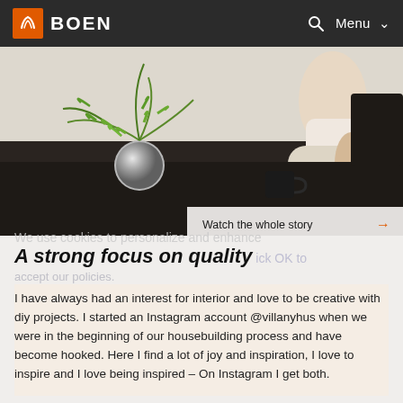BOEN — Menu
[Figure (photo): Interior scene with a dark table, a fern plant in a silver round vase, a black mug, and a person in a white dress sitting on a cream chair in the background. Watch the whole story button overlay.]
We use cookies to personalize and enhance your experience. Click OK to accept our policies.
A strong focus on quality
I have always had an interest for interior and love to be creative with diy projects. I started an Instagram account @villanyhus when we were in the beginning of our housebuilding process and have become hooked. Here I find a lot of joy and inspiration, I love to inspire and I love being inspired – On Instagram I get both.